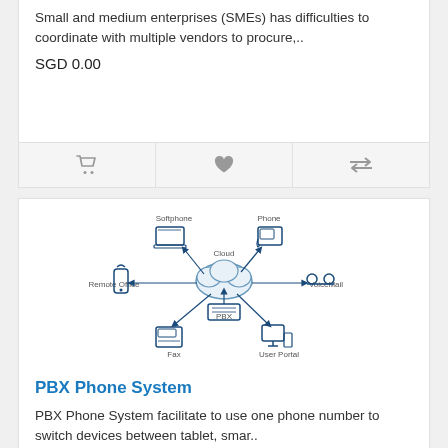Small and medium enterprises (SMEs) has difficulties to coordinate with multiple vendors to procure,...
SGD 0.00
[Figure (infographic): PBX Phone System network diagram showing Cloud at center connected to Softphone (laptop), Phone, Remote Office (mobile), VoiceMail, Fax, User Portal, and PBX]
PBX Phone System
PBX Phone System facilitate to use one phone number to switch devices between tablet, smar..
SGD 0.00